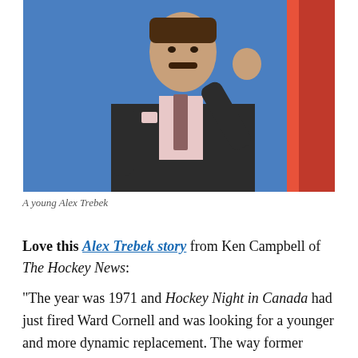[Figure (photo): A young Alex Trebek in a dark suit with a pink shirt and patterned tie, waving his right hand, standing in front of a blue background with a red element on the right side.]
A young Alex Trebek
Love this Alex Trebek story from Ken Campbell of The Hockey News:
“The year was 1971 and Hockey Night in Canada had just fired Ward Cornell and was looking for a younger and more dynamic replacement. The way former executive producer Ralph Mellanby tells it, five candidates made the